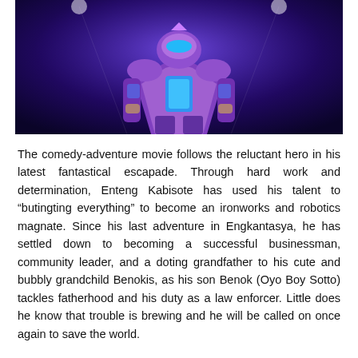[Figure (photo): A colorful robot/armored character in purple and metallic tones against a dark purple background with stage lighting]
The comedy-adventure movie follows the reluctant hero in his latest fantastical escapade. Through hard work and determination, Enteng Kabisote has used his talent to “butingting everything” to become an ironworks and robotics magnate. Since his last adventure in Engkantasya, he has settled down to becoming a successful businessman, community leader, and a doting grandfather to his cute and bubbly grandchild Benokis, as his son Benok (Oyo Boy Sotto) tackles fatherhood and his duty as a law enforcer. Little does he know that trouble is brewing and he will be called on once again to save the world.
Enteng’s nemesis is Kwak-kwak (played by Epi Quizon), a power-obsessed villain who was booted out from Engkantasya. He has the capability to control minds who has launched a virtual reality game that transmits his mind control to anyone who plays it. The